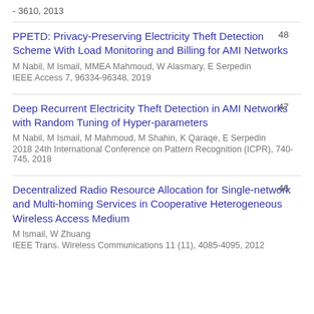- 3610, 2013
PPETD: Privacy-Preserving Electricity Theft Detection Scheme With Load Monitoring and Billing for AMI Networks
M Nabil, M Ismail, MMEA Mahmoud, W Alasmary, E Serpedin
IEEE Access 7, 96334-96348, 2019
48
Deep Recurrent Electricity Theft Detection in AMI Networks with Random Tuning of Hyper-parameters
M Nabil, M Ismail, M Mahmoud, M Shahin, K Qaraqe, E Serpedin
2018 24th International Conference on Pattern Recognition (ICPR), 740-745, 2018
47
Decentralized Radio Resource Allocation for Single-network and Multi-homing Services in Cooperative Heterogeneous Wireless Access Medium
M Ismail, W Zhuang
IEEE Trans. Wireless Communications 11 (11), 4085-4095, 2012
46